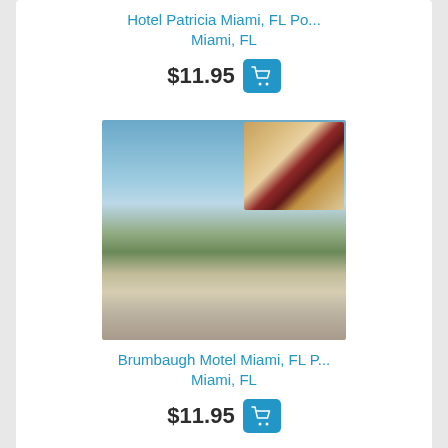Hotel Patricia Miami, FL Po...
Miami, FL
$11.95
[Figure (photo): Postcard image of Brumbaugh Motel Miami FL showing exterior and interior room]
Brumbaugh Motel Miami, FL P...
Miami, FL
$11.95
[Figure (photo): Partial postcard image at bottom of page]